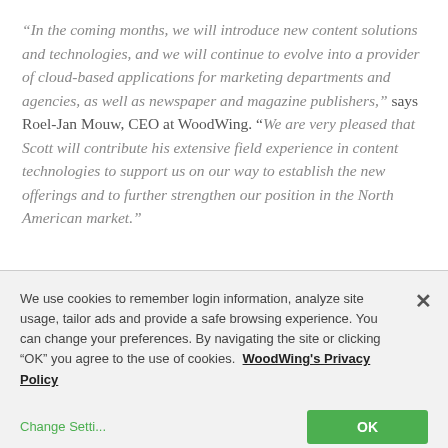“In the coming months, we will introduce new content solutions and technologies, and we will continue to evolve into a provider of cloud-based applications for marketing departments and agencies, as well as newspaper and magazine publishers,” says Roel-Jan Mouw, CEO at WoodWing. “We are very pleased that Scott will contribute his extensive field experience in content technologies to support us on our way to establish the new offerings and to further strengthen our position in the North American market.”
We use cookies to remember login information, analyze site usage, tailor ads and provide a safe browsing experience. You can change your preferences. By navigating the site or clicking “OK” you agree to the use of cookies. WoodWing's Privacy Policy